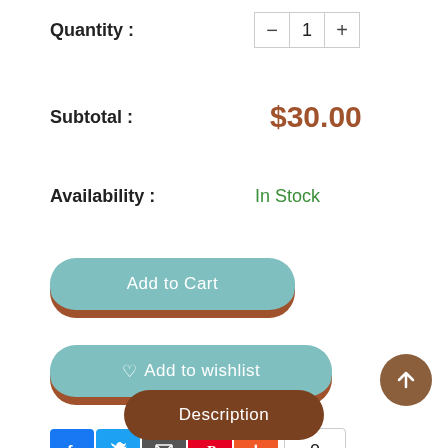Quantity : - 1 +
Subtotal : $30.00
Availability : In Stock
Add to Cart
♡ Add to wishlist
[Figure (infographic): Social sharing icons row: Facebook, Twitter, Email, Pinterest, Plus button, and share count showing 0]
[Figure (other): Back to top circular button with upward arrow]
Description